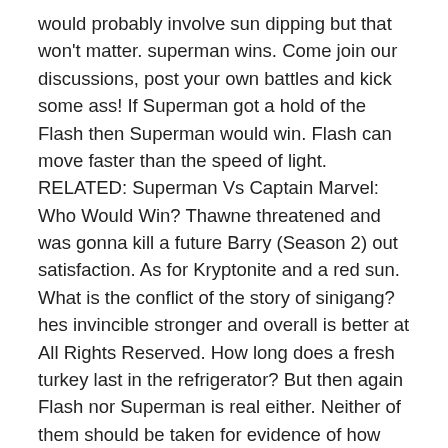would probably involve sun dipping but that won't matter. superman wins. Come join our discussions, post your own battles and kick some ass! If Superman got a hold of the Flash then Superman would win. Flash can move faster than the speed of light. RELATED: Superman Vs Captain Marvel: Who Would Win? Thawne threatened and was gonna kill a future Barry (Season 2) out satisfaction. As for Kryptonite and a red sun. What is the conflict of the story of sinigang? hes invincible stronger and overall is better at All Rights Reserved. How long does a fresh turkey last in the refrigerator? But then again Flash nor Superman is real either. Neither of them should be taken for evidence of how fast Flash is, which already ridiculous enough. When he first debuted, Superman was a strong man, capable of superhuman feats of speed but nothing truly supersonic. 2 Answers. Which would require him to think that fast. In a one on one Flash vs. Superman fight, a number of factors come into play. Can two pokemon cards and a figurine of sailor moon be called a collection? Flash vs. Superman: 5 Reasons The Flash Triumphs (&